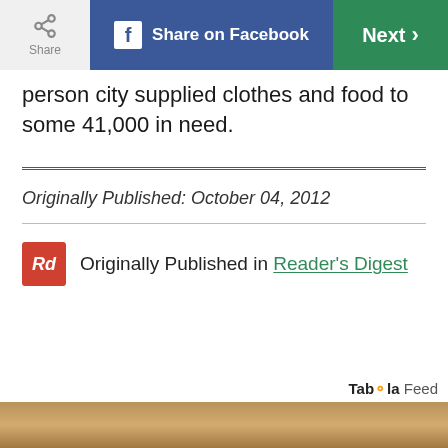Share | Share on Facebook | Next
person city supplied clothes and food to some 41,000 in need.
Originally Published: October 04, 2012
Originally Published in Reader's Digest
Taboola Feed